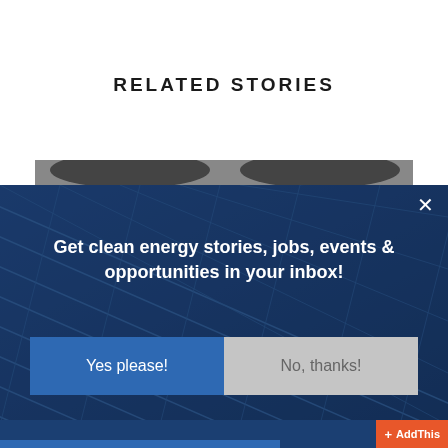RELATED STORIES
[Figure (photo): Top portion of a dark car visible above a solar panel modal overlay]
[Figure (photo): Solar panel background image with dark blue overlay forming a modal dialog]
× (close button)
Get clean energy stories, jobs, events & opportunities in your inbox!
Yes please!
No, thanks!
+ AddThis